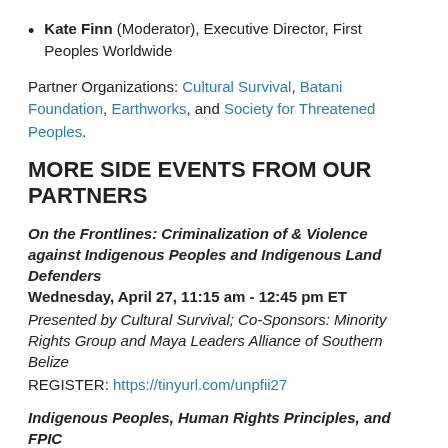Kate Finn (Moderator), Executive Director, First Peoples Worldwide
Partner Organizations: Cultural Survival, Batani Foundation, Earthworks, and Society for Threatened Peoples.
MORE SIDE EVENTS FROM OUR PARTNERS
On the Frontlines: Criminalization of & Violence against Indigenous Peoples and Indigenous Land Defenders
Wednesday, April 27, 11:15 am - 12:45 pm ET
Presented by Cultural Survival; Co-Sponsors: Minority Rights Group and Maya Leaders Alliance of Southern Belize
REGISTER: https://tinyurl.com/unpfii27
Indigenous Peoples, Human Rights Principles, and FPIC